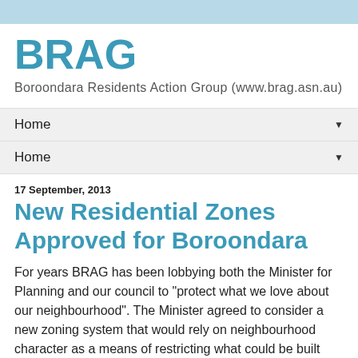BRAG
Boroondara Residents Action Group (www.brag.asn.au)
Home
Home
17 September, 2013
New Residential Zones Approved for Boroondara
For years BRAG has been lobbying both the Minister for Planning and our council to "protect what we love about our neighbourhood". The Minister agreed to consider a new zoning system that would rely on neighbourhood character as a means of restricting what could be built and what could not.
Boroondara Council quickly conducted a survey of the municipality